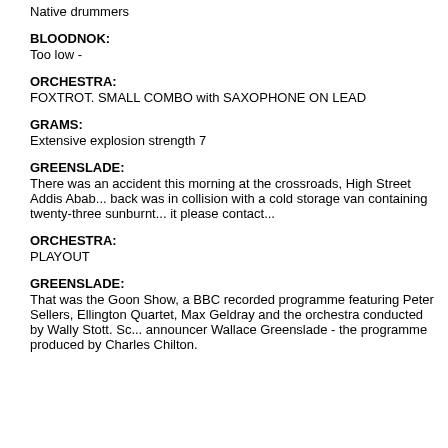Native drummers
BLOODNOK:
Too low -
ORCHESTRA:
FOXTROT. SMALL COMBO with SAXOPHONE ON LEAD
GRAMS:
Extensive explosion strength 7
GREENSLADE:
There was an accident this morning at the crossroads, High Street Addis Abab... back was in collision with a cold storage van containing twenty-three sunburnt... it please contact...
ORCHESTRA:
PLAYOUT
GREENSLADE:
That was the Goon Show, a BBC recorded programme featuring Peter Sellers, Ellington Quartet, Max Geldray and the orchestra conducted by Wally Stott. Sc... announcer Wallace Greenslade - the programme produced by Charles Chilton.